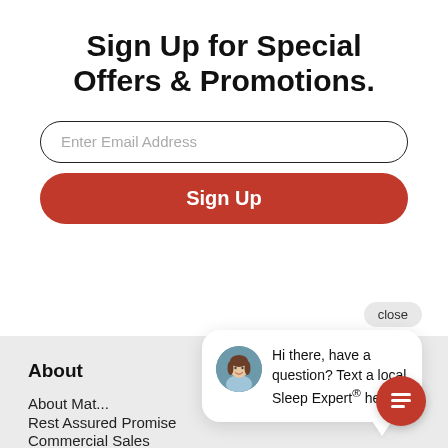Sign Up for Special Offers & Promotions.
Enter Email Address
Sign Up
close
[Figure (illustration): Chat bubble popup with avatar photo of a woman with brown hair and text: Hi there, have a question? Text a local Sleep Expert® here.]
About
About Mat...
Rest Assured Promise
Commercial Sales
[Figure (illustration): Red circular chat icon button with message lines symbol.]